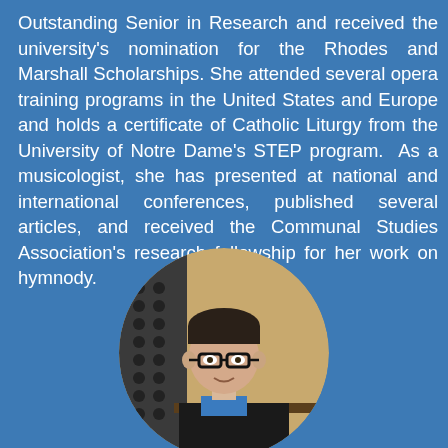Outstanding Senior in Research and received the university's nomination for the Rhodes and Marshall Scholarships. She attended several opera training programs in the United States and Europe and holds a certificate of Catholic Liturgy from the University of Notre Dame's STEP program.  As a musicologist, she has presented at national and international conferences, published several articles, and received the Communal Studies Association's research fellowship for her work on hymnody.
[Figure (photo): Circular headshot photo of a young man with dark hair and glasses wearing a blue shirt and dark jacket, positioned in front of what appears to be organ pipes.]